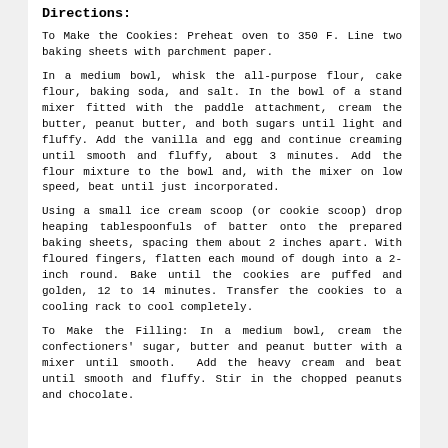Directions:
To Make the Cookies: Preheat oven to 350 F. Line two baking sheets with parchment paper.
In a medium bowl, whisk the all-purpose flour, cake flour, baking soda, and salt. In the bowl of a stand mixer fitted with the paddle attachment, cream the butter, peanut butter, and both sugars until light and fluffy. Add the vanilla and egg and continue creaming until smooth and fluffy, about 3 minutes. Add the flour mixture to the bowl and, with the mixer on low speed, beat until just incorporated.
Using a small ice cream scoop (or cookie scoop) drop heaping tablespoonfuls of batter onto the prepared baking sheets, spacing them about 2 inches apart. With floured fingers, flatten each mound of dough into a 2-inch round. Bake until the cookies are puffed and golden, 12 to 14 minutes. Transfer the cookies to a cooling rack to cool completely.
To Make the Filling: In a medium bowl, cream the confectioners' sugar, butter and peanut butter with a mixer until smooth.  Add the heavy cream and beat until smooth and fluffy. Stir in the chopped peanuts and chocolate.